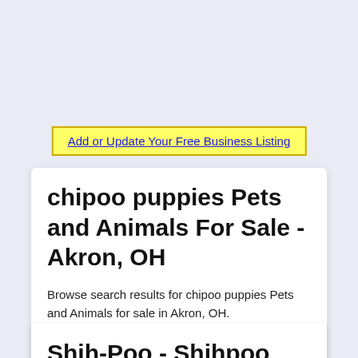Add or Update Your Free Business Listing
chipoo puppies Pets and Animals For Sale - Akron, OH
Browse search results for chipoo puppies Pets and Animals for sale in Akron, OH. AmericanListed features safe and local classifieds for everything you need! More
Shih-Poo - Shihpoo Puppies